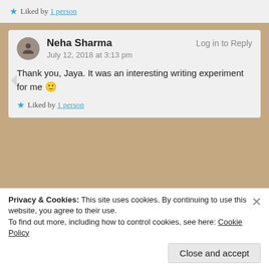★ Liked by 1 person
Neha Sharma — Log in to Reply
July 12, 2018 at 3:13 pm
Thank you, Jaya. It was an interesting writing experiment for me 🙂
★ Liked by 1 person
Jaya Singh — Log in to Reply
July 12, 2018 at 3:58 pm
Privacy & Cookies: This site uses cookies. By continuing to use this website, you agree to their use.
To find out more, including how to control cookies, see here: Cookie Policy
Close and accept